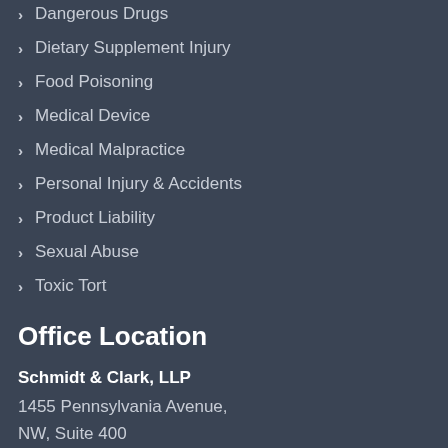Dangerous Drugs
Dietary Supplement Injury
Food Poisoning
Medical Device
Medical Malpractice
Personal Injury & Accidents
Product Liability
Sexual Abuse
Toxic Tort
Office Location
Schmidt & Clark, LLP
1455 Pennsylvania Avenue,
NW, Suite 400
Washington, DC 20004